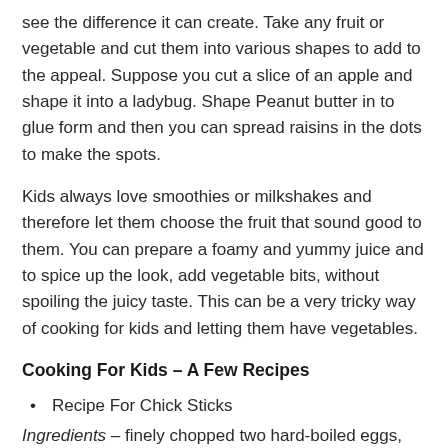see the difference it can create. Take any fruit or vegetable and cut them into various shapes to add to the appeal. Suppose you cut a slice of an apple and shape it into a ladybug. Shape Peanut butter in to glue form and then you can spread raisins in the dots to make the spots.
Kids always love smoothies or milkshakes and therefore let them choose the fruit that sound good to them. You can prepare a foamy and yummy juice and to spice up the look, add vegetable bits, without spoiling the juicy taste. This can be a very tricky way of cooking for kids and letting them have vegetables.
Cooking For Kids – A Few Recipes
Recipe For Chick Sticks
Ingredients – finely chopped two hard-boiled eggs, cooked chicken (chopped), salt and ground pepper; you will also need a mixture of white breadcrumbs and finely chopped parsley.